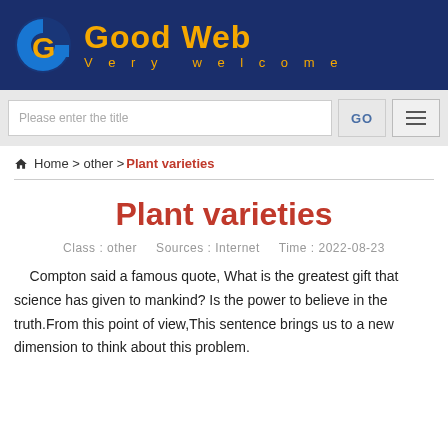[Figure (logo): Good Web website logo with blue arc icon, orange bold text 'Good Web' and subtitle 'Very welcome' on dark navy background]
Please enter the title  GO  ≡
🏠 Home > other > Plant varieties
Plant varieties
Class : other    Sources : Internet    Time : 2022-08-23
Compton said a famous quote, What is the greatest gift that science has given to mankind? Is the power to believe in the truth.From this point of view,This sentence brings us to a new dimension to think about this problem.